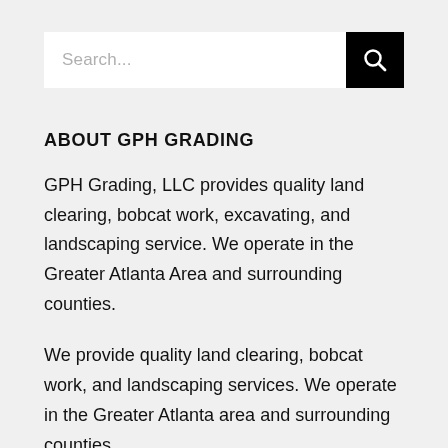Search...
ABOUT GPH GRADING
GPH Grading, LLC provides quality land clearing, bobcat work, excavating, and landscaping service. We operate in the Greater Atlanta Area and surrounding counties.
We provide quality land clearing, bobcat work, and landscaping services. We operate in the Greater Atlanta area and surrounding counties.